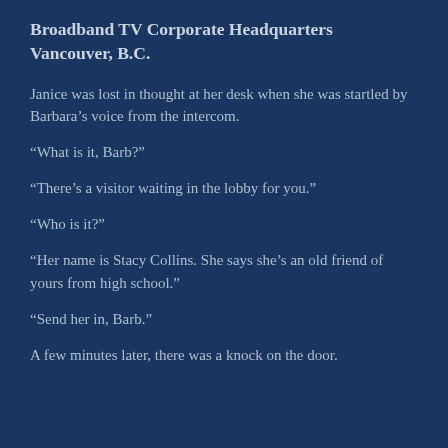Broadband TV Corporate Headquarters Vancouver, B.C.
Janice was lost in thought at her desk when she was startled by Barbara’s voice from the intercom.
“What is it, Barb?”
“There’s a visitor waiting in the lobby for you.”
“Who is it?”
“Her name is Stacy Collins. She says she’s an old friend of yours from high school.”
“Send her in, Barb.”
A few minutes later, there was a knock on the door.